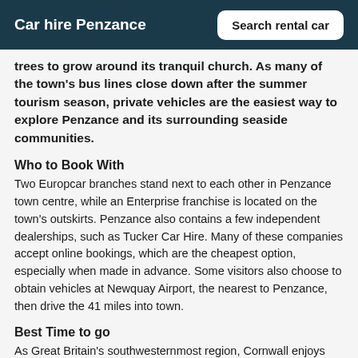Car hire Penzance
trees to grow around its tranquil church. As many of the town's bus lines close down after the summer tourism season, private vehicles are the easiest way to explore Penzance and its surrounding seaside communities.
Who to Book With
Two Europcar branches stand next to each other in Penzance town centre, while an Enterprise franchise is located on the town's outskirts. Penzance also contains a few independent dealerships, such as Tucker Car Hire. Many of these companies accept online bookings, which are the cheapest option, especially when made in advance. Some visitors also choose to obtain vehicles at Newquay Airport, the nearest to Penzance, then drive the 41 miles into town.
Best Time to go
As Great Britain's southwesternmost region, Cornwall enjoys one of the country's mildest and sunniest climates. However, summer